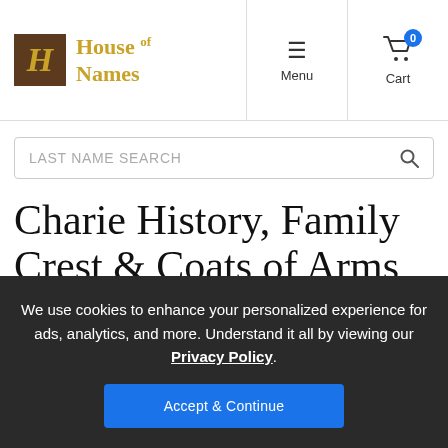House of Names — Menu | Cart (0)
LAST NAME SEARCH
Charie History, Family Crest & Coats of Arms
We use cookies to enhance your personalized experience for ads, analytics, and more. Understand it all by viewing our Privacy Policy.
Accept & Continue